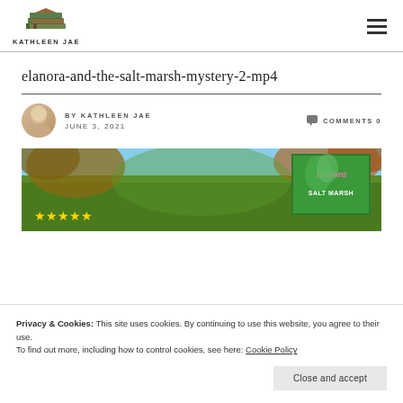[Figure (logo): Kathleen Jae logo with stack of books image and text KATHLEEN JAE below]
KATHLEEN JAE
elanora-and-the-salt-marsh-mystery-2-mp4
BY KATHLEEN JAE   COMMENTS 0
JUNE 3, 2021
[Figure (photo): Book cover for Elanora and the Salt Marsh Mystery with foliage background and 5-star rating]
Privacy & Cookies: This site uses cookies. By continuing to use this website, you agree to their use.
To find out more, including how to control cookies, see here: Cookie Policy
Close and accept